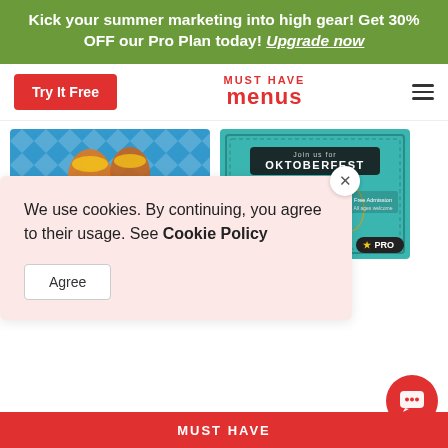Kick your summer marketing into high gear! Get 30% OFF our Pro Plan today! Upgrade now
Try It Free
[Figure (logo): Must Have Menus logo in red]
[Figure (illustration): Oktoberfest Mug Facebook card with blue diamond pattern background and orange Oktoberfest banner, PRO badge]
Oktoberfest Mug Facebook
[Figure (illustration): Oktoberfest promotion flyer on teal background with beer mug graphic, PRO badge]
We use cookies. By continuing, you agree to their usage. See Cookie Policy
Agree
MUST HAVE